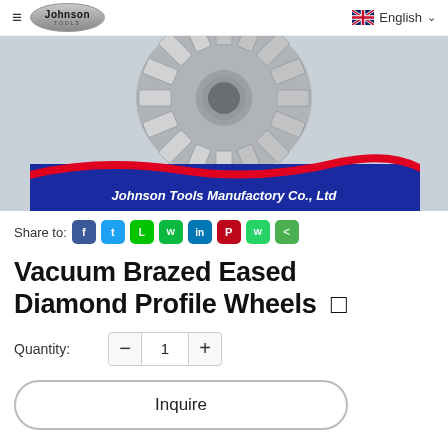Johnson Tools — English
[Figure (photo): Diamond profile wheel product photo — segmented circular grinding wheel shown from above, with silver/grey diamond segments arranged radially. Below the wheel is a blue banner with red wave and white italic text 'Johnson Tools Manufactory Co., Ltd']
Share to: [Facebook] [Twitter] [Line] [WeChat] [LinkedIn] [Pinterest] [WhatsApp] [Share]
Vacuum Brazed Eased Diamond Profile Wheels
Quantity: — 1 +
Inquire